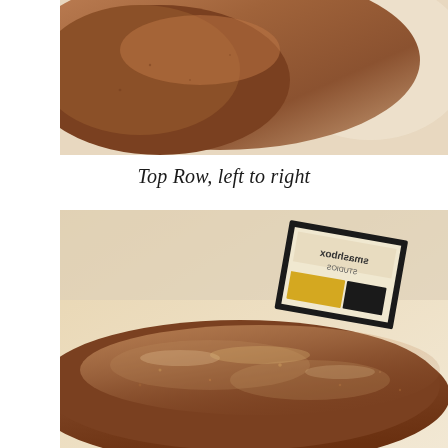[Figure (photo): Close-up photo of a dark-skinned arm/shoulder area on a light background, showing skin texture]
Top Row, left to right
[Figure (photo): Photo of a dark-skinned forearm with a highlighted/shimmery appearance, with a cosmetics product box (showing 'Smashbox' or similar brand) visible in the upper portion of the image on a light beige background]